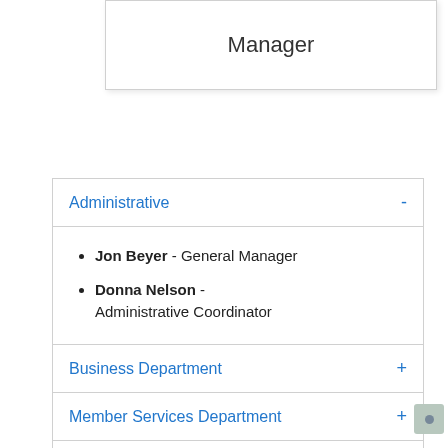[Figure (other): Org chart box with label 'Manager']
Administrative -
Jon Beyer - General Manager
Donna Nelson - Administrative Coordinator
Business Department +
Member Services Department +